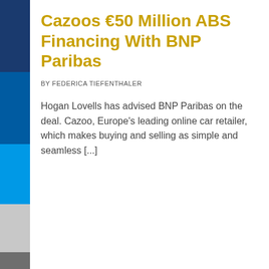Cazoos €50 Million ABS Financing With BNP Paribas
BY FEDERICA TIEFENTHALER
Hogan Lovells has advised BNP Paribas on the deal. Cazoo, Europe's leading online car retailer, which makes buying and selling as simple and seamless [...]